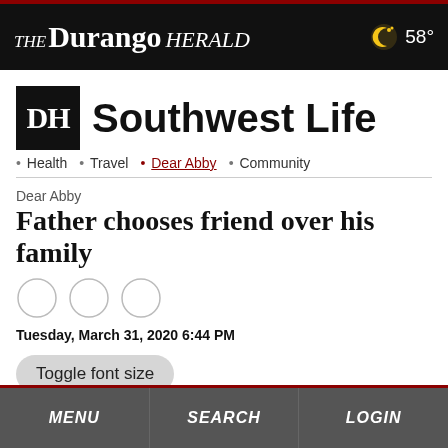THE Durango HERALD · 58°
Southwest Life
• Health • Travel • Dear Abby • Community
Dear Abby
Father chooses friend over his family
Tuesday, March 31, 2020 6:44 PM
Toggle font size
MENU  SEARCH  LOGIN